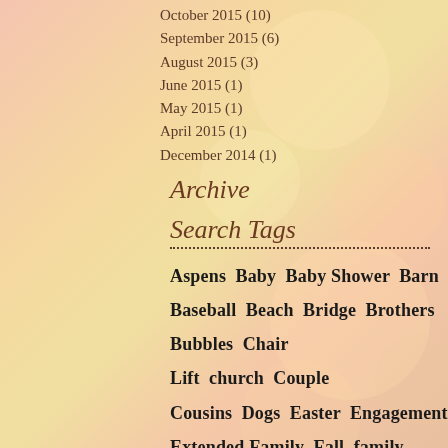October 2015 (10)
September 2015 (6)
August 2015 (3)
June 2015 (1)
May 2015 (1)
April 2015 (1)
December 2014 (1)
Archive
Search Tags
Aspens  Baby  Baby Shower  Barn  Baseball  Beach  Bridge  Brothers  Bubbles  Chair Lift  church  Couple  Cousins  Dogs  Easter  Engagement  Extended Family  Fall  family  First Communion  Fitness  Flowers  Football  Formal  Graduate